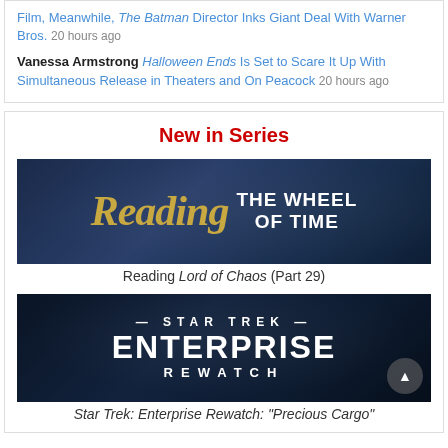Film, Meanwhile, The Batman Director Inks Giant Deal With Warner Bros. 20 hours ago
Vanessa Armstrong Halloween Ends Is Set to Scare It Up With Simultaneous Release in Theaters and On Peacock 20 hours ago
New in Series
[Figure (illustration): Dark blue banner reading 'Reading THE WHEEL OF TIME' with golden serif text for 'Reading' and white block caps for 'THE WHEEL OF TIME']
Reading Lord of Chaos (Part 29)
[Figure (illustration): Dark space-themed banner reading '— STAR TREK — ENTERPRISE REWATCH' in white text on dark blue background]
Star Trek: Enterprise Rewatch: "Precious Cargo"